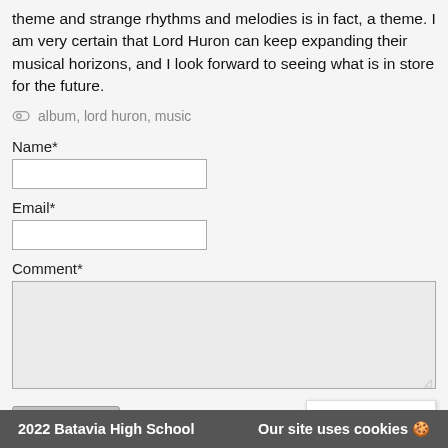theme and strange rhythms and melodies is in fact, a theme. I am very certain that Lord Huron can keep expanding their musical horizons, and I look forward to seeing what is in store for the future.
album, lord huron, music
Name*
Email*
Comment*
Submit
[Figure (other): reCAPTCHA widget with puzzle icon and Privacy - Terms text]
Comments will have to be appoved before being posted
2022 Batavia High School    Our site uses cookies 🍪